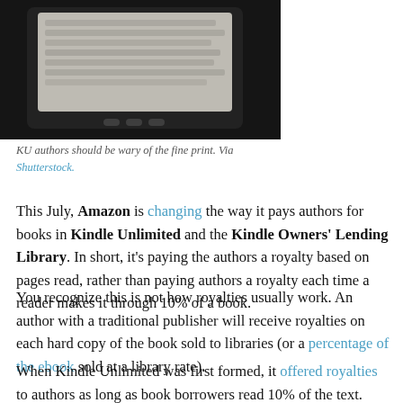[Figure (photo): Close-up photo of an e-reader device (likely Kindle) showing blurred text on screen, black and white tones]
KU authors should be wary of the fine print. Via Shutterstock.
This July, Amazon is changing the way it pays authors for books in Kindle Unlimited and the Kindle Owners' Lending Library. In short, it's paying the authors a royalty based on pages read, rather than paying authors a royalty each time a reader makes it through 10% of a book.
You recognize this is not how royalties usually work. An author with a traditional publisher will receive royalties on each hard copy of the book sold to libraries (or a percentage of the ebook sold at a library rate).
When Kindle Unlimited was first formed, it offered royalties to authors as long as book borrowers read 10% of the text. Now authors are likely to make less money each